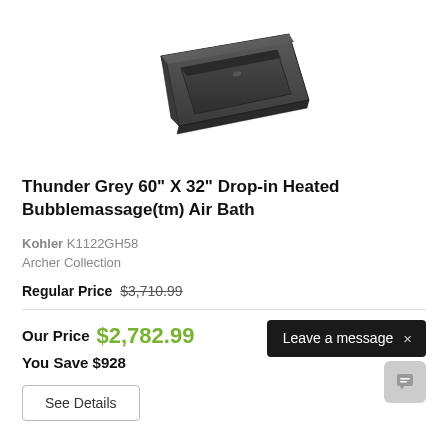[Figure (photo): Product photo of a dark grey/charcoal rectangular drop-in bathtub shown in perspective view against white background]
Thunder Grey 60" X 32" Drop-in Heated Bubblemassage(tm) Air Bath
Kohler K1122GH58
Archer Collection
Regular Price $3,710.99
Our Price $2,782.99
You Save $928
See Details
Leave a message ×